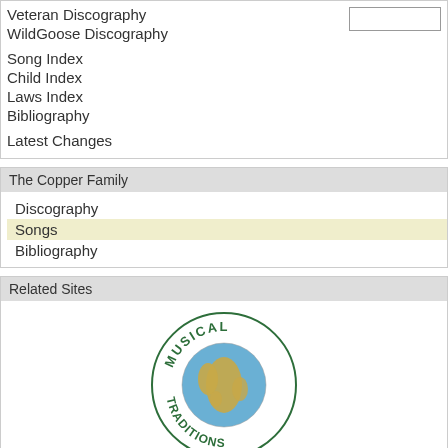Veteran Discography
WildGoose Discography
Song Index
Child Index
Laws Index
Bibliography
Latest Changes
The Copper Family
Discography
Songs
Bibliography
Related Sites
[Figure (logo): Musical Traditions globe logo with text around circular border]
About / Impressum
Server: 202.61.241.101; Last updated Thu Dec 28, 2017 by Reinhard Zierke